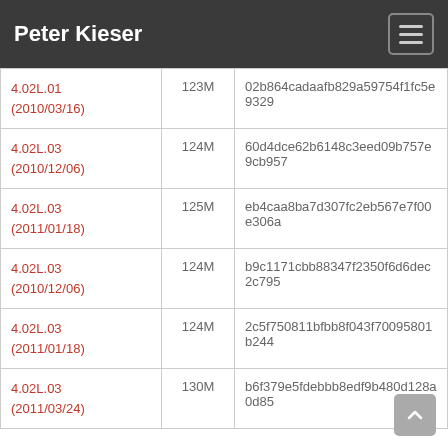Peter Kieser
| Version | Size | Hash |
| --- | --- | --- |
| 4.02L.01 (2010/03/16) | 123M | 02b864cadaafb829a59754f1fc5e9329 |
| 4.02L.03 (2010/12/06) | 124M | 60d4dce62b6148c3eed09b757e9cb957 |
| 4.02L.03 (2011/01/18) | 125M | eb4caa8ba7d307fc2eb567e7f00e306a |
| 4.02L.03 (2010/12/06) | 124M | b9c1171cbb88347f2350f6d6dec2c795 |
| 4.02L.03 (2011/01/18) | 124M | 2c5f750811bfbb8f043f70095801b244 |
| 4.02L.03 (2011/03/24) | 130M | b6f379e5fdebbb8edf9b480d128a0d85 |